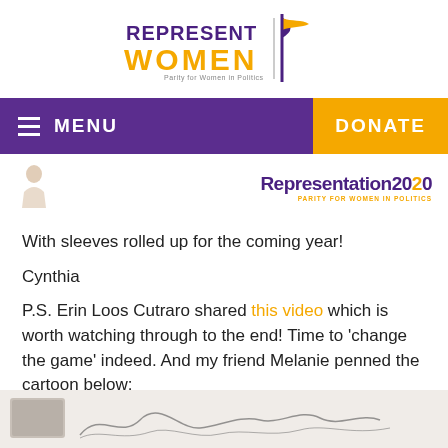[Figure (logo): RepresentWomen logo with purple REPRESENT text, orange WOMEN text, flag graphic, and tagline 'Parity for Women in Politics']
[Figure (screenshot): Purple navigation bar with hamburger menu icon, MENU text, and orange DONATE button on the right]
[Figure (logo): Representation2020 logo with purple and orange text and tagline 'PARITY FOR WOMEN IN POLITICS', alongside a partial figure on the left]
With sleeves rolled up for the coming year!
Cynthia
P.S. Erin Loos Cutraro shared this video which is worth watching through to the end! Time to 'change the game' indeed. And my friend Melanie penned the cartoon below:
[Figure (illustration): Bottom strip showing a partial cartoon/illustration, appears to be a handwritten style drawing]